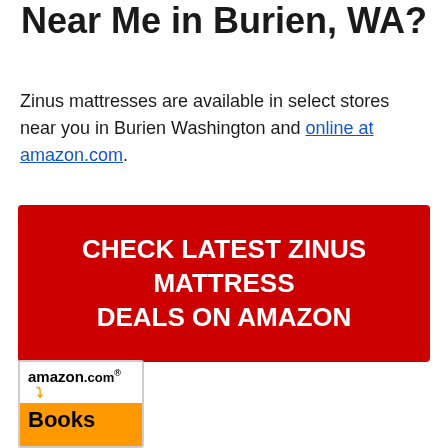Near Me in Burien, WA?
Zinus mattresses are available in select stores near you in Burien Washington and online at amazon.com.
[Figure (infographic): Red CTA button with white bold text reading CHECK LATEST ZINUS MATTRESS DEALS ON AMAZON]
[Figure (logo): Amazon.com Books logo with orange bottom section]